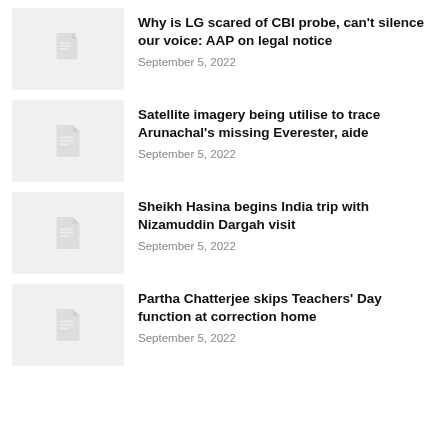[Figure (illustration): Placeholder thumbnail with document icon]
Why is LG scared of CBI probe, can't silence our voice: AAP on legal notice
September 5, 2022
[Figure (illustration): Placeholder thumbnail with document icon]
Satellite imagery being utilise to trace Arunachal's missing Everester, aide
September 5, 2022
[Figure (illustration): Placeholder thumbnail with document icon]
Sheikh Hasina begins India trip with Nizamuddin Dargah visit
September 5, 2022
[Figure (illustration): Placeholder thumbnail with document icon]
Partha Chatterjee skips Teachers' Day function at correction home
September 5, 2022